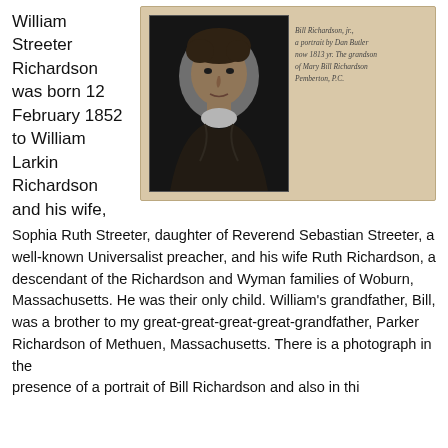William Streeter Richardson was born 12 February 1852 to William Larkin Richardson and his wife,
[Figure (photo): A scanned book page showing a black-and-white portrait photograph of a man from the early 19th century, with curly hair and formal attire, alongside handwritten cursive text/inscription on the right side of the page.]
Sophia Ruth Streeter, daughter of Reverend Sebastian Streeter, a well-known Universalist preacher, and his wife Ruth Richardson, a descendant of the Richardson and Wyman families of Woburn, Massachusetts. He was their only child. William's grandfather, Bill, was a brother to my great-great-great-great-grandfather, Parker Richardson of Methuen, Massachusetts. There is a photograph in the presence of a portrait of Bill Richardson and also in this